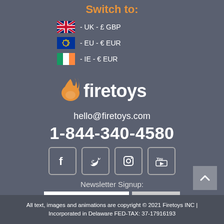Switch to:
- UK - £ GBP
- EU - € EUR
- IE - € EUR
[Figure (logo): Firetoys logo with orange flame icon and white text 'firetoys']
hello@firetoys.com
1-844-340-4580
[Figure (infographic): Social media icons: Facebook, Twitter, Instagram, YouTube]
Newsletter Signup:
email address  Subscribe
All text, images and animations are copyright © 2021 Firetoys INC | Incorporated in Delaware FED-TAX: 37-17916193